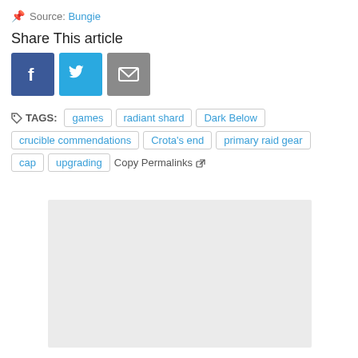📌 Source: Bungie
Share This article
[Figure (other): Social share buttons: Facebook (blue), Twitter (light blue), Email (grey)]
🏷 TAGS: games  radiant shard  Dark Below  crucible commendations  Crota's end  primary raid gear  cap  upgrading  Copy Permalinks ↗